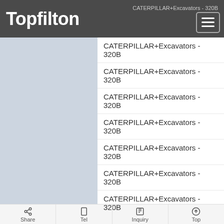Topfilton
CATERPILLAR+Excavators - 320B
CATERPILLAR+Excavators - 320B
CATERPILLAR+Excavators - 320B
CATERPILLAR+Excavators - 320B
CATERPILLAR+Excavators - 320B
CATERPILLAR+Excavators - 320B
CATERPILLAR+Excavators - 320B
Share  Tel  Inquiry  Top
CATERPILLAR+Excavators - 320B